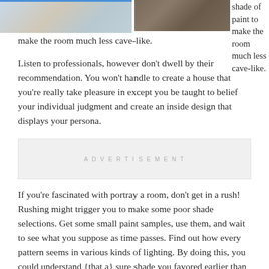[Figure (photo): Two photos side by side at top: left shows soft light-colored fabric/bedding with blue accent, right shows a wooden surface or floor texture. Blue bar visible at top edge.]
shade of paint to make the room much less cave-like.
Listen to professionals, however don't dwell by their recommendation. You won't handle to create a house that you're really take pleasure in except you be taught to belief your individual judgment and create an inside design that displays your persona.
ADVERTISEMENT
If you're fascinated with portray a room, don't get in a rush! Rushing might trigger you to make some poor shade selections. Get some small paint samples, use them, and wait to see what you suppose as time passes. Find out how every pattern seems in various kinds of lighting. By doing this, you could understand {that a} sure shade you favored earlier than does not have the